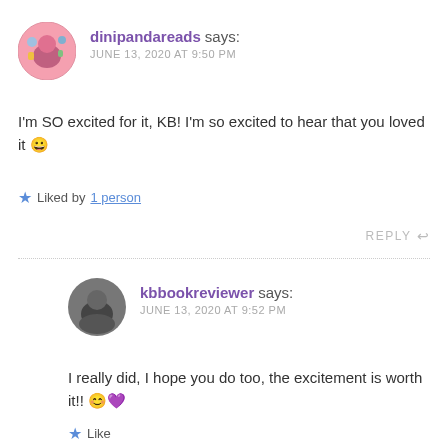[Figure (photo): Round avatar of dinipandareads user, colorful illustration]
dinipandareads says:
JUNE 13, 2020 AT 9:50 PM
I'm SO excited for it, KB! I'm so excited to hear that you loved it 😀
★ Liked by 1 person
REPLY ↩
[Figure (photo): Round avatar of kbbookreviewer user, grayscale photo]
kbbookreviewer says:
JUNE 13, 2020 AT 9:52 PM
I really did, I hope you do too, the excitement is worth it!! 😊💜
★ Like